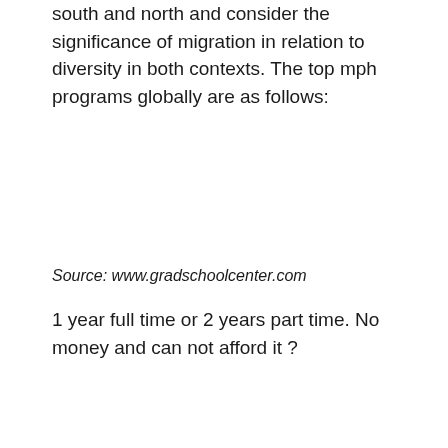south and north and consider the significance of migration in relation to diversity in both contexts. The top mph programs globally are as follows:
Source: www.gradschoolcenter.com
1 year full time or 2 years part time. No money and can not afford it ?